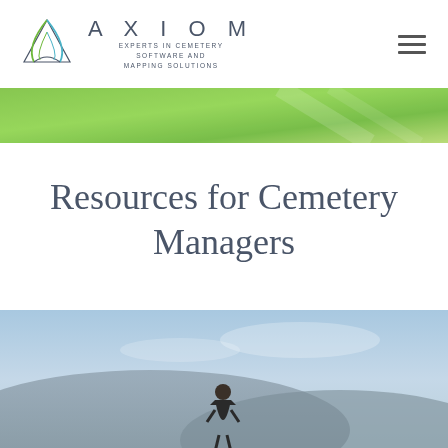[Figure (logo): Axiom logo with triangular emblem and text 'AXIOM - EXPERTS IN CEMETERY SOFTWARE AND MAPPING SOLUTIONS']
[Figure (illustration): Green banner/hero background image]
Resources for Cemetery Managers
[Figure (photo): Outdoor photo showing a person against a sky and mountain background]